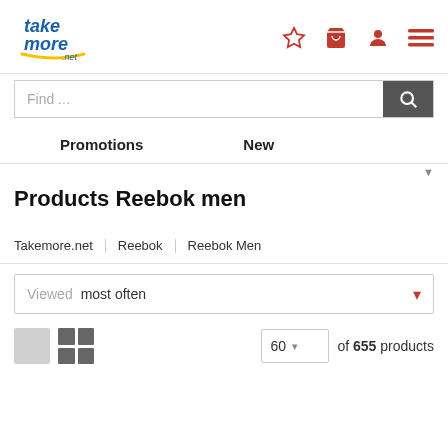[Figure (logo): Takemore.net logo in blue and yellow cursive text]
Find ...
Promotions    New
Products Reebok men
Takemore.net  Reebok  Reebok Men
Viewed  most often
60  of 655 products